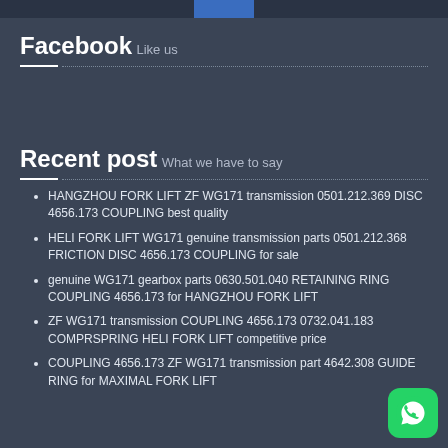Facebook
Like us
Recent post
What we have to say
HANGZHOU FORK LIFT ZF WG171 transmission 0501.212.369 DISC 4656.173 COUPLING best quality
HELI FORK LIFT WG171 genuine transmission parts 0501.212.368 FRICTION DISC 4656.173 COUPLING for sale
genuine WG171 gearbox parts 0630.501.040 RETAINING RING COUPLING 4656.173 for HANGZHOU FORK LIFT
ZF WG171 transmission COUPLING 4656.173 0732.041.183 COMPRSPRING HELI FORK LIFT competitive price
COUPLING 4656.173 ZF WG171 transmission part 4642.308 GUIDE RING for MAXIMAL FORK LIFT